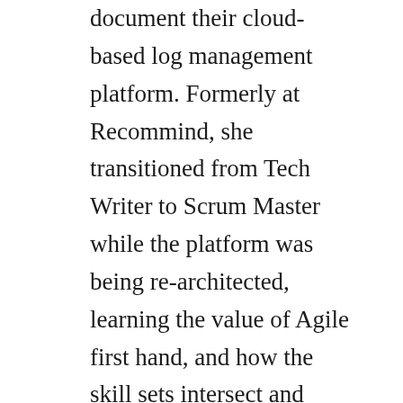document their cloud-based log management platform. Formerly at Recommind, she transitioned from Tech Writer to Scrum Master while the platform was being re-architected, learning the value of Agile first hand, and how the skill sets intersect and complement each other.
Daniel Doornbos has been a technical communicator since 1982. He most recently worked as a Senior Technical Writer at HEAT Software on its IT Service Management product. The company is in the process of transitioning to agile development.